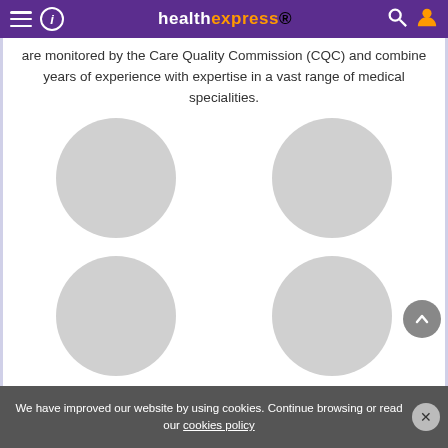healthexpress
are monitored by the Care Quality Commission (CQC) and combine years of experience with expertise in a vast range of medical specialities.
[Figure (illustration): Four grey placeholder circles arranged in a 2x2 grid, representing doctor or specialist profile images]
We have improved our website by using cookies. Continue browsing or read our cookies policy